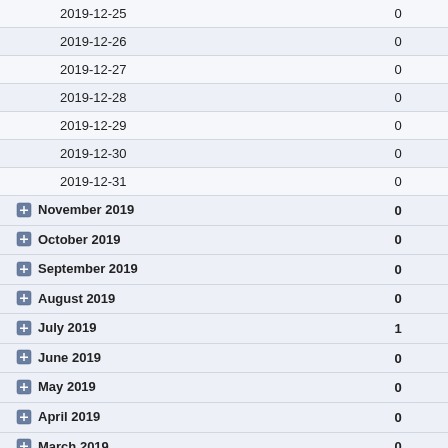| Date/Period | Count |
| --- | --- |
| 2019-12-25 | 0 |
| 2019-12-26 | 0 |
| 2019-12-27 | 0 |
| 2019-12-28 | 0 |
| 2019-12-29 | 0 |
| 2019-12-30 | 0 |
| 2019-12-31 | 0 |
| November 2019 | 0 |
| October 2019 | 0 |
| September 2019 | 0 |
| August 2019 | 0 |
| July 2019 | 1 |
| June 2019 | 0 |
| May 2019 | 0 |
| April 2019 | 0 |
| March 2019 | 0 |
| February 2019 | 0 |
| January 2019 | 0 |